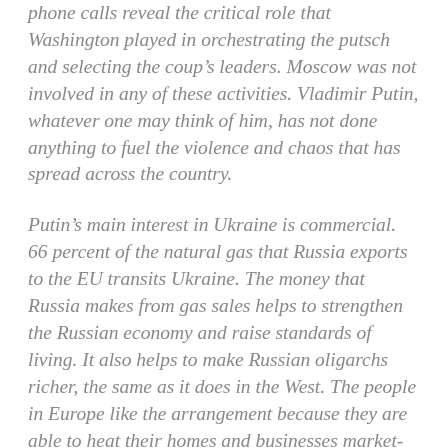phone calls reveal the critical role that Washington played in orchestrating the putsch and selecting the coup’s leaders. Moscow was not involved in any of these activities. Vladimir Putin, whatever one may think of him, has not done anything to fuel the violence and chaos that has spread across the country.
Putin’s main interest in Ukraine is commercial. 66 percent of the natural gas that Russia exports to the EU transits Ukraine. The money that Russia makes from gas sales helps to strengthen the Russian economy and raise standards of living. It also helps to make Russian oligarchs richer, the same as it does in the West. The people in Europe like the arrangement because they are able to heat their homes and businesses market-based prices. In other words, it is a good deal for both parties, buyer and seller. This is how the free market is supposed to work. The reason it doesn’t work that way